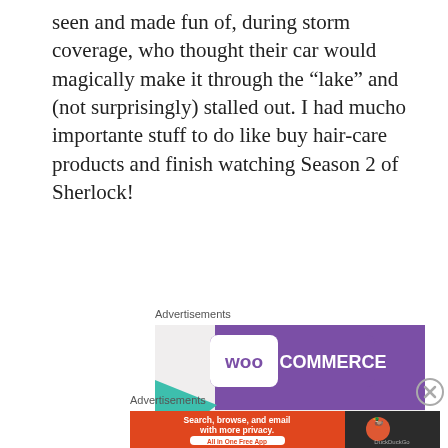seen and made fun of, during storm coverage, who thought their car would magically make it through the “lake” and (not surprisingly) stalled out. I had mucho importante stuff to do like buy hair-care products and finish watching Season 2 of Sherlock!
Advertisements
[Figure (screenshot): WooCommerce advertisement: How to start selling subscriptions online]
[Figure (illustration): Close button (X circle)]
Advertisements
[Figure (screenshot): DuckDuckGo advertisement: Search, browse, and email with more privacy. All in One Free App]